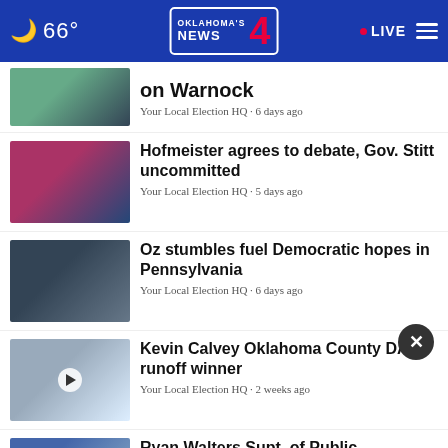66° · Oklahoma's News 4 · LIVE
on Warnock
Your Local Election HQ · 6 days ago
Hofmeister agrees to debate, Gov. Stitt uncommitted
Your Local Election HQ · 5 days ago
Oz stumbles fuel Democratic hopes in Pennsylvania
Your Local Election HQ · 6 days ago
Kevin Calvey Oklahoma County DA runoff winner
Your Local Election HQ · 2 weeks ago
Ryan Walters Supt. of Public Instructions Runoff ...
Your Local Election HQ · 2 weeks ago
AP: Markwayne Mullin declared...
[Figure (screenshot): Braum's advertisement banner with logo, ice cream, burger and fries]